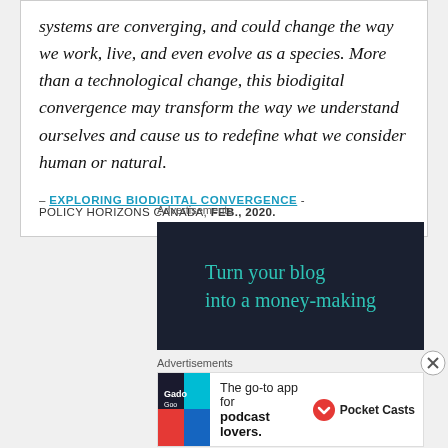systems are converging, and could change the way we work, live, and even evolve as a species. More than a technological change, this biodigital convergence may transform the way we understand ourselves and cause us to redefine what we consider human or natural.
– EXPLORING BIODIGITAL CONVERGENCE - POLICY HORIZONS CANADA, FEB., 2020.
Advertisements
[Figure (other): Advertisement banner with dark background reading 'Turn your blog into a money-making' in teal text]
Advertisements
[Figure (other): Pocket Casts advertisement: 'The go-to app for podcast lovers.' with Pocket Casts logo]